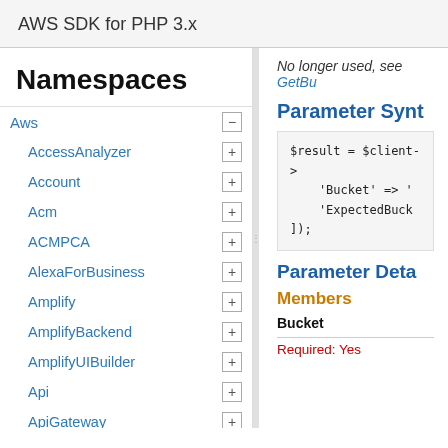AWS SDK for PHP 3.x
Namespaces
Aws
AccessAnalyzer
Account
Acm
ACMPCA
AlexaForBusiness
Amplify
AmplifyBackend
AmplifyUIBuilder
Api
ApiGateway
ApiGatewayManagementApi
No longer used, see GetBu...
Parameter Synt...
$result = $client->
    'Bucket' => '<',
    'ExpectedBuck...
]);
Parameter Deta...
Members
Bucket
Required: Yes